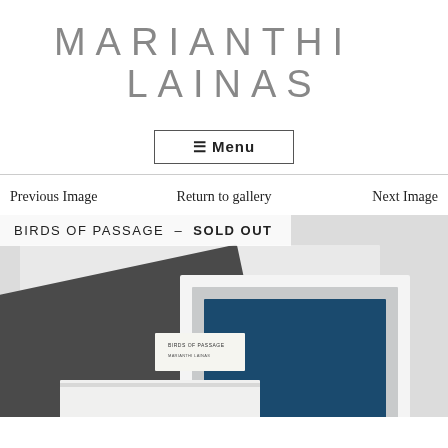MARIANTHI LAINAS
≡ Menu
Previous Image
Return to gallery
Next Image
[Figure (photo): Photograph of artist books and portfolio items from 'Birds of Passage' series. Shows dark grey/charcoal covers, a white/silver framed piece, and a blue book, arranged overlapping on a light grey background. A small label reads 'BIRDS OF PASSAGE'.]
BIRDS OF PASSAGE -  SOLD OUT